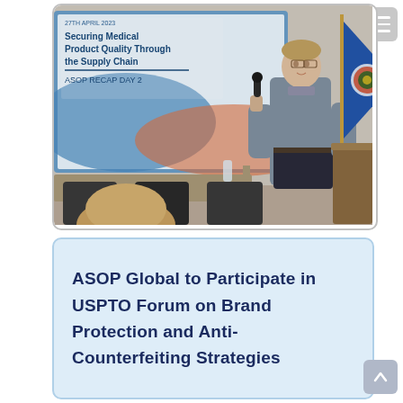[Figure (photo): A man in a grey shirt holding a microphone speaks at a podium in a conference room. Behind him is a projection screen displaying 'Securing Medical Product Quality Through the Supply Chain – ASOP RECAP DAY 2'. A blue flag with a colored emblem stands nearby. Chairs and tables are visible in the foreground.]
ASOP Global to Participate in USPTO Forum on Brand Protection and Anti-Counterfeiting Strategies